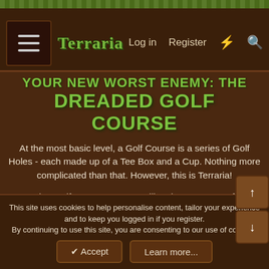Terraria - Log in - Register
YOUR NEW WORST ENEMY: THE DREADED GOLF COURSE
At the most basic level, a Golf Course is a series of Golf Holes - each made up of a Tee Box and a Cup. Nothing more complicated than that. However, this is Terraria!
Terrarian Golf Course creators will make smart use of how the environment and terrain impact golf shots, setting up tricky situations to challenge even the most pro-tier golfer. This section of our guide will give an overview of various terrain and how it impacts golf shots.
This site uses cookies to help personalise content, tailor your experience and to keep you logged in if you register. By continuing to use this site, you are consenting to our use of cookies.